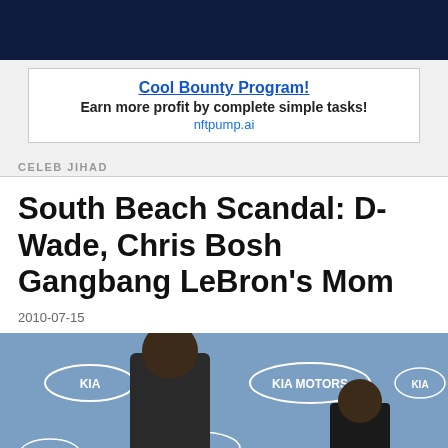[Figure (other): Dark navy blue top navigation bar]
[Figure (other): Advertisement banner: Cool Bounty Program! Earn more profit by complete simple tasks! nftpump.ai]
CELEB JIHAD
South Beach Scandal: D-Wade, Chris Bosh Gangbang LeBron’s Mom
2010-07-15
[Figure (photo): Press conference photo of a tall basketball player in a suit with a woman, in front of a KIA Motors and NBA branded backdrop]